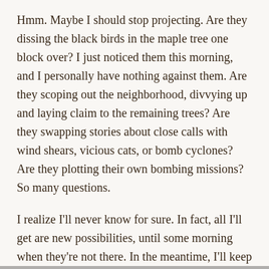Hmm. Maybe I should stop projecting.  Are they dissing the black birds in the maple tree one block over?  I just noticed them this morning, and I personally have nothing against them.  Are they scoping out the neighborhood, divvying up and laying claim to the remaining trees?  Are they swapping stories about close calls with wind shears, vicious cats, or bomb cyclones?  Are they plotting their own bombing missions? So many questions.
I realize I'll never know for sure. In fact, all I'll get are new possibilities, until some morning when they're not there. In the meantime, I'll keep my ears tuned for clues, and I'll keep looking up...for various reasons.